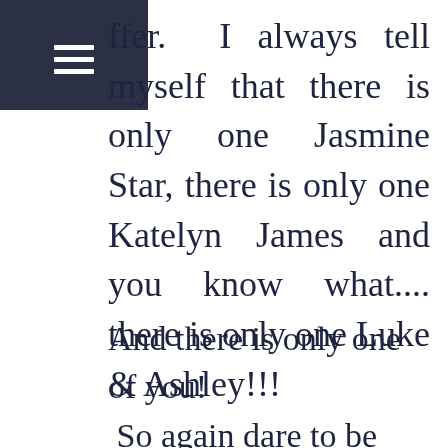[Figure (other): Dark navy hamburger menu icon in top-left corner]
ffer.  I always tell myself that there is only one Jasmine Star, there is only one Katelyn James and you know what.... there is only one Luke & Ashley!!!
And there is only one of you!
 So again dare to be different!